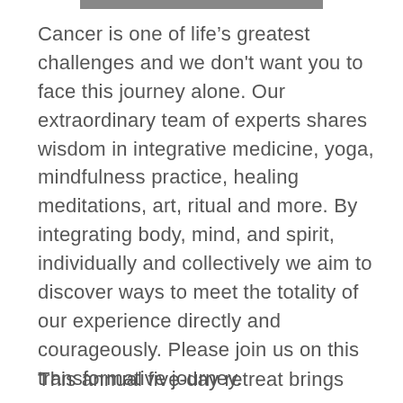[Figure (other): Gray horizontal bar at top of page]
Cancer is one of life’s greatest challenges and we don't want you to face this journey alone. Our extraordinary team of experts shares wisdom in integrative medicine, yoga, mindfulness practice, healing meditations, art, ritual and more. By integrating body, mind, and spirit, individually and collectively we aim to discover ways to meet the totality of our experience directly and courageously. Please join us on this transformative journey.
This annual five-day retreat brings